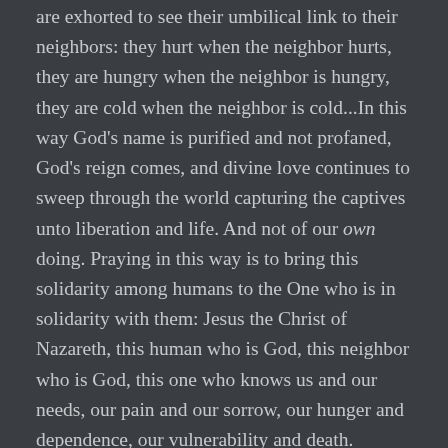are exhorted to see their umbilical link to their neighbors: they hurt when the neighbor hurts, they are hungry when the neighbor is hungry, they are cold when the neighbor is cold...In this way God's name is purified and not profaned, God's reign comes, and divine love continues to sweep through the world capturing the captives unto liberation and life. And not of our own doing. Praying in this way is to bring this solidarity among humans to the One who is in solidarity with them: Jesus the Christ of Nazareth, this human who is God, this neighbor who is God, this one who knows us and our needs, our pain and our sorrow, our hunger and dependence, our vulnerability and death.
So, back to the introduction and the question: why pray? Because I love you. Because I love those whom God loves. Because I want people to know and the world to experience the divine love of God. Today, I pray not